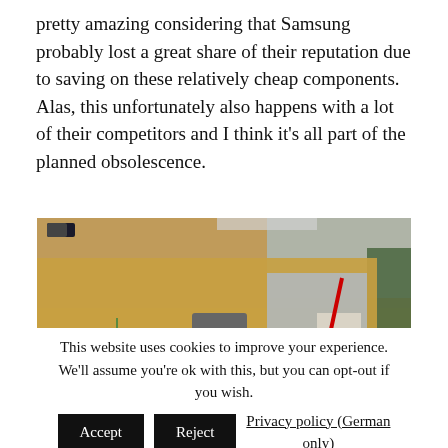pretty amazing considering that Samsung probably lost a great share of their reputation due to saving on these relatively cheap components. Alas, this unfortunately also happens with a lot of their competitors and I think it's all part of the planned obsolescence.
[Figure (photo): Close-up photo of a circuit board (PCB) with electronic components including capacitors, with a red arrow pointing to a group of capacitors in the image.]
This website uses cookies to improve your experience. We'll assume you're ok with this, but you can opt-out if you wish. Accept Reject Privacy policy (German only)